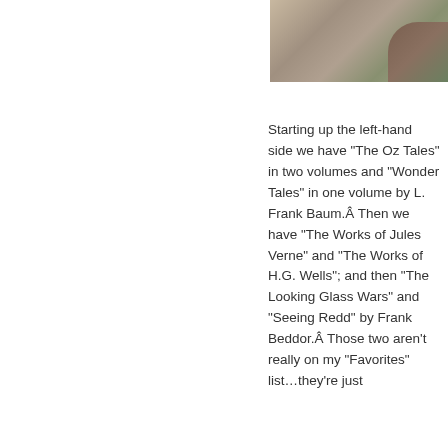[Figure (photo): Partial photo of what appears to be a nature or outdoor scene, visible in the upper right corner of the page]
Starting up the left-hand side we have “The Oz Tales” in two volumes and “Wonder Tales” in one volume by L. Frank Baum.Â Then we have “The Works of Jules Verne” and “The Works of H.G. Wells”; and then “The Looking Glass Wars” and “Seeing Redd” by Frank Beddor.Â  Those two aren’t really on my “Favorites” list…they’re just